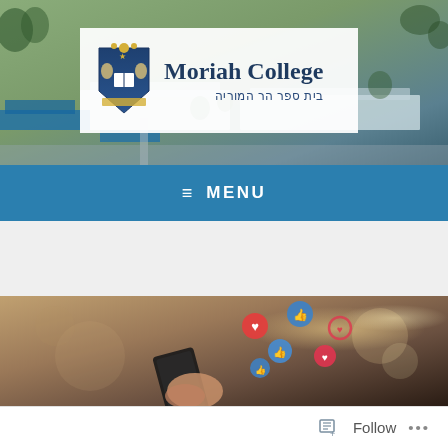[Figure (photo): Aerial view of Moriah College campus with buildings and trees]
[Figure (logo): Moriah College logo with crest, English name 'Moriah College' and Hebrew text 'בית ספר הר המוריה']
Moriah College
בית ספר הר המוריה
≡  MENU
[Figure (photo): Person holding a smartphone with social media like/heart/thumbs-up icons floating above the screen]
Follow  ...